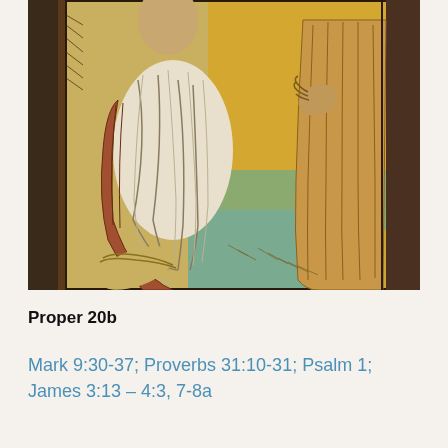[Figure (illustration): Medieval woodcut-style colored illustration showing robed figures, partially cropped. Two figures visible — one in white/cream robes on the left, another in brown/tan robes on the right, against a background with yellow and green tones. The image has a dark border and appears to be a religious scene.]
Proper 20b
Mark 9:30-37; Proverbs 31:10-31; Psalm 1; James 3:13 – 4:3, 7-8a